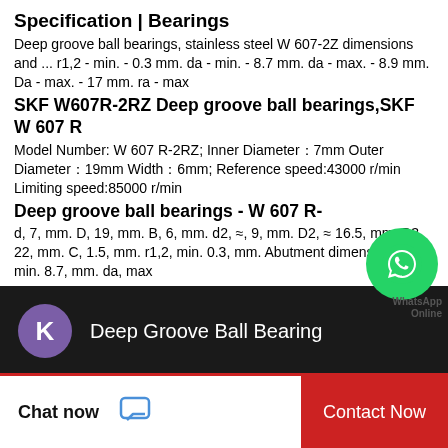Specification | Bearings
Deep groove ball bearings, stainless steel W 607-2Z dimensions and ... r1,2 - min. - 0.3 mm. da - min. - 8.7 mm. da - max. - 8.9 mm. Da - max. - 17 mm. ra - max
SKF W607R-2RZ Deep groove ball bearings,SKF W 607 R
Model Number: W 607 R-2RZ; Inner Diameter：7mm Outer Diameter：19mm Width：6mm; Reference speed:43000 r/min Limiting speed:85000 r/min
Deep groove ball bearings - W 607 R-
d, 7, mm. D, 19, mm. B, 6, mm. d2, ≈, 9, mm. D2, ≈ 16.5, mm. D3, 22, mm. C, 1.5, mm. r1,2, min. 0.3, mm. Abutment dimensions. da, min. 8.7, mm. da, max
[Figure (screenshot): WhatsApp Online chat badge with green circle icon and text 'WhatsApp Online']
[Figure (screenshot): Dark bar with purple avatar circle showing letter K and text 'Deep Groove Ball Bearing']
[Figure (screenshot): Bottom action bar with 'Chat now' on white left side with chat icon, and 'Contact Now' on red right side]